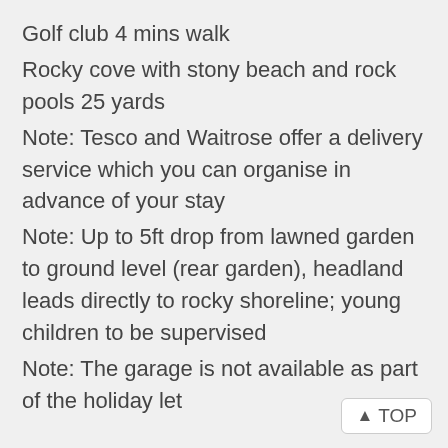Golf club 4 mins walk
Rocky cove with stony beach and rock pools 25 yards
Note: Tesco and Waitrose offer a delivery service which you can organise in advance of your stay
Note: Up to 5ft drop from lawned garden to ground level (rear garden), headland leads directly to rocky shoreline; young children to be supervised
Note: The garage is not available as part of the holiday let